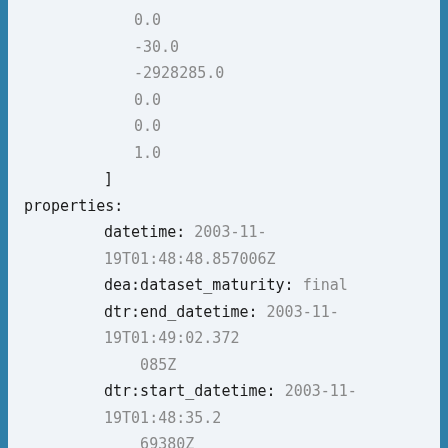0.0
-30.0
-2928285.0
0.0
0.0
1.0
]
properties:
datetime: 2003-11-19T01:48:48.857006Z
dea:dataset_maturity: final
dtr:end_datetime: 2003-11-19T01:49:02.372085Z
dtr:start_datetime: 2003-11-19T01:48:35.269380Z
eo:cloud_cover: 53.795685136597285
eo:gsd: 30.0
eo:instrument: TM
eo:platform: landsat-5
eo:sun_azimuth: 82.14438356